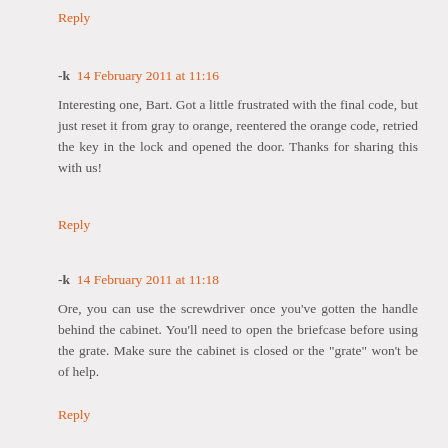Reply
-k  14 February 2011 at 11:16
Interesting one, Bart. Got a little frustrated with the final code, but just reset it from gray to orange, reentered the orange code, retried the key in the lock and opened the door. Thanks for sharing this with us!
Reply
-k  14 February 2011 at 11:18
Ore, you can use the screwdriver once you've gotten the handle behind the cabinet. You'll need to open the briefcase before using the grate. Make sure the cabinet is closed or the "grate" won't be of help.
Reply